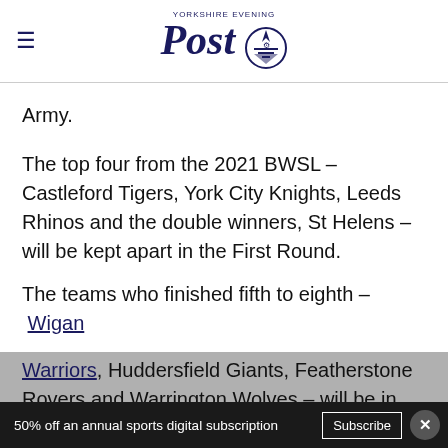Yorkshire Evening Post
Army.
The top four from the 2021 BWSL – Castleford Tigers, York City Knights, Leeds Rhinos and the double winners, St Helens – will be kept apart in the First Round.
The teams who finished fifth to eighth – Wigan Warriors, Huddersfield Giants, Featherstone Rovers and Warrington Wolves – will be in the
50% off an annual sports digital subscription  Subscribe